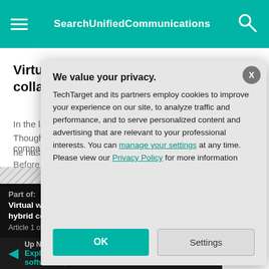SearchUnifiedCommunications
Virtual whiteboards support remote collaboration
In the last 18 months, as the pandemic forced Thoughtworks teams to work remotely, Pickett said he has seen widespread... company.
Before the pand...
Part of: Virtual wh... hybrid co...
Article 1 of 4
Up N... Explo... softw...
We value your privacy. TechTarget and its partners employ cookies to improve your experience on our site, to analyze traffic and performance, and to serve personalized content and advertising that are relevant to your professional interests. You can manage your settings at any time. Please view our Privacy Policy for more information
OK
Settings